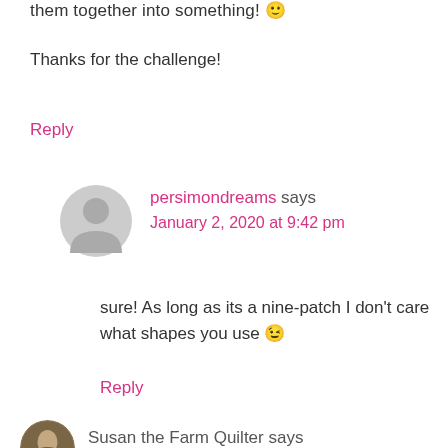them together into something! 🙂
Thanks for the challenge!
Reply
[Figure (illustration): Grey circular avatar placeholder icon showing a generic person silhouette]
persimondreams says
January 2, 2020 at 9:42 pm
sure! As long as its a nine-patch I don't care what shapes you use 😉
Reply
[Figure (photo): Circular profile photo of Susan the Farm Quilter]
Susan the Farm Quilter says